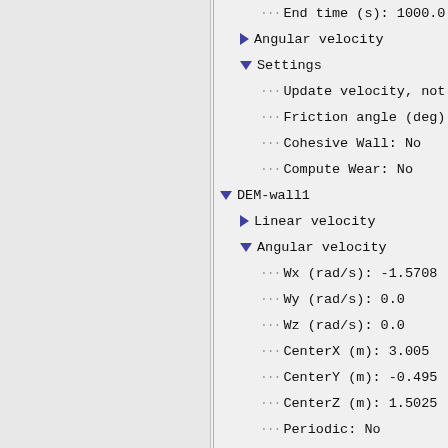End time (s): 1000.0
▶ Angular velocity
▼ Settings
Update velocity, not displace
Friction angle (deg): 60
Cohesive Wall: No
Compute Wear: No
▼ DEM-wall1
▶ Linear velocity
▼ Angular velocity
Wx (rad/s): -1.5708
Wy (rad/s): 0.0
Wz (rad/s): 0.0
CenterX (m): 3.005
CenterY (m): -0.495
CenterZ (m): 1.5025
Periodic: No
Start time (s): 0.0
End time (s): 1.0
▼ Settings
Update velocity, not displace
Friction angle (deg): 30.0
Cohesive Wall: No
Compute Wear: No